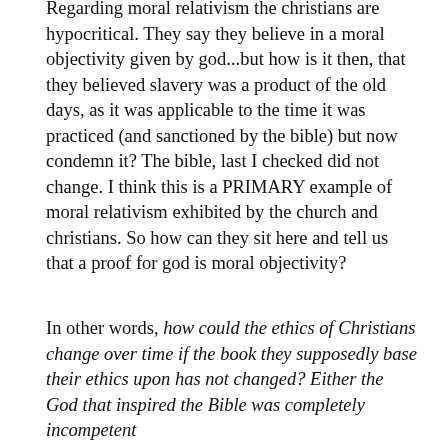Regarding moral relativism the christians are hypocritical. They say they believe in a moral objectivity given by god...but how is it then, that they believed slavery was a product of the old days, as it was applicable to the time it was practiced (and sanctioned by the bible) but now condemn it? The bible, last I checked did not change. I think this is a PRIMARY example of moral relativism exhibited by the church and christians. So how can they sit here and tell us that a proof for god is moral objectivity?
In other words, how could the ethics of Christians change over time if the book they supposedly base their ethics upon has not changed? Either the God that inspired the Bible was completely incompetent